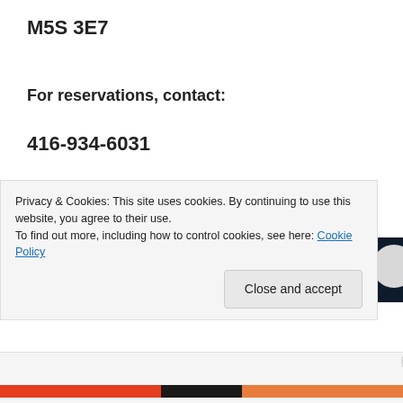M5S 3E7
For reservations, contact:
416-934-6031
[Figure (screenshot): Dark navy banner with a pink/red bar on the left and a light grey circle on the right, partially visible at the bottom of the page content area.]
Privacy & Cookies: This site uses cookies. By continuing to use this website, you agree to their use.
To find out more, including how to control cookies, see here: Cookie Policy
Close and accept